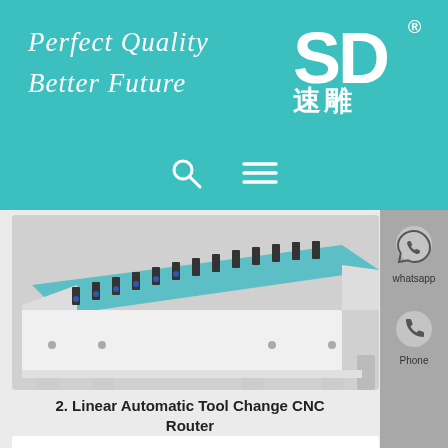Perfect Quality Better Future
[Figure (logo): SD logo with registered trademark symbol and Chinese characters 速雕 on teal background]
[Figure (photo): CNC router machine with linear automatic tool change system, white frame with teal worktable, multiple tool holders visible]
2. Linear Automatic Tool Change CNC Router
[Figure (photo): Partial view of another CNC router product, bottom of page]